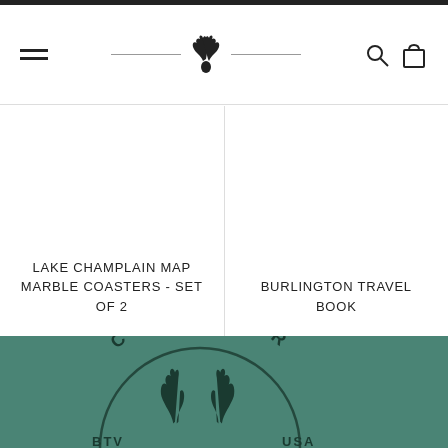Navigation bar with hamburger menu, deer antler logo, search icon, and cart icon
LAKE CHAMPLAIN MAP MARBLE COASTERS - SET OF 2
BURLINGTON TRAVEL BOOK
[Figure (logo): Common Deer BTV USA circular logo with deer antlers on teal/green background]